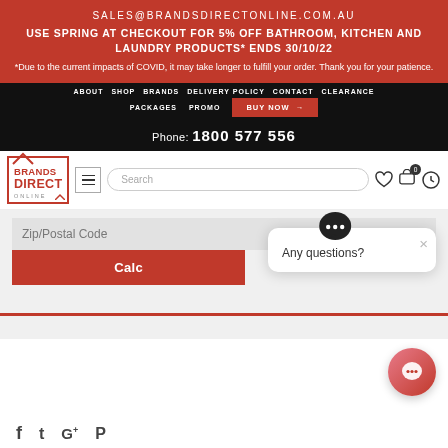SALES@BRANDSDIRECTONLINE.COM.AU
USE SPRING AT CHECKOUT FOR 5% OFF BATHROOM, KITCHEN AND LAUNDRY PRODUCTS* ENDS 30/10/22
*Due to the current impacts of COVID, it may take longer to fulfill your order. Thank you for your patience.
ABOUT  SHOP  BRANDS  DELIVERY POLICY  CONTACT  CLEARANCE  PACKAGES  PROMO  BUY NOW →
Phone: 1800 577 556
[Figure (logo): Brands Direct Online logo with red house outline and red text]
Search
Zip/Postal Code
Calc
Any questions?
[Figure (illustration): Chat bubble icon with three dots]
[Figure (illustration): Floating chat button with gradient red-pink background]
f  t  G+  p (social media icons)